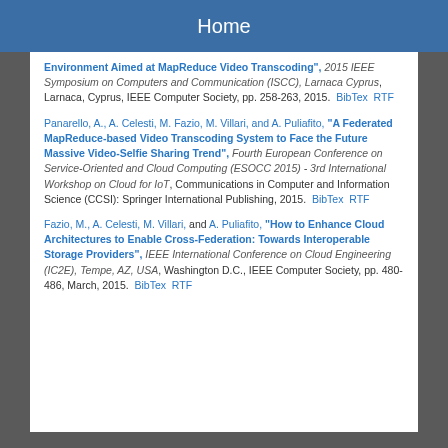Home
Environment Aimed at MapReduce Video Transcoding", 2015 IEEE Symposium on Computers and Communication (ISCC), Larnaca Cyprus, Larnaca, Cyprus, IEEE Computer Society, pp. 258-263, 2015.  BibTex  RTF
Panarello, A., A. Celesti, M. Fazio, M. Villari, and A. Puliafito, "A Federated MapReduce-based Video Transcoding System to Face the Future Massive Video-Selfie Sharing Trend", Fourth European Conference on Service-Oriented and Cloud Computing (ESOCC 2015) - 3rd International Workshop on Cloud for IoT, Communications in Computer and Information Science (CCSI): Springer International Publishing, 2015.  BibTex  RTF
Fazio, M., A. Celesti, M. Villari, and A. Puliafito, "How to Enhance Cloud Architectures to Enable Cross-Federation: Towards Interoperable Storage Providers", IEEE International Conference on Cloud Engineering (IC2E), Tempe, AZ, USA, Washington D.C., IEEE Computer Society, pp. 480-486, March, 2015.  BibTex  RTF